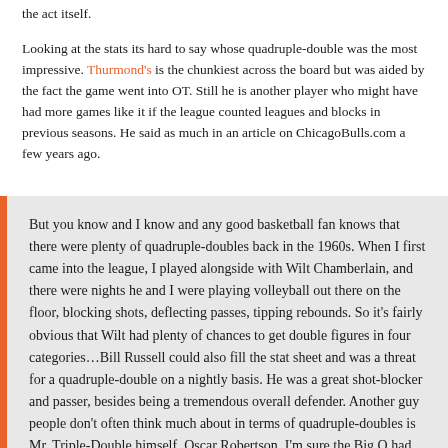the act itself.

Looking at the stats its hard to say whose quadruple-double was the most impressive. Thurmond's is the chunkiest across the board but was aided by the fact the game went into OT. Still he is another player who might have had more games like it if the league counted leagues and blocks in previous seasons. He said as much in an article on ChicagoBulls.com a few years ago.
But you know and I know and any good basketball fan knows that there were plenty of quadruple-doubles back in the 1960s. When I first came into the league, I played alongside with Wilt Chamberlain, and there were nights he and I were playing volleyball out there on the floor, blocking shots, deflecting passes, tipping rebounds. So it's fairly obvious that Wilt had plenty of chances to get double figures in four categories…Bill Russell could also fill the stat sheet and was a threat for a quadruple-double on a nightly basis. He was a great shot-blocker and passer, besides being a tremendous overall defender. Another guy people don't often think much about in terms of quadruple-doubles is Mr. Triple-Double himself, Oscar Robertson. I'm sure the Big O had games of